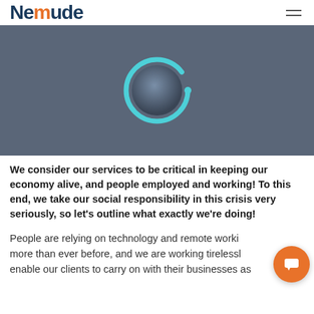Nemude
[Figure (other): Video player thumbnail with dark blue-grey background and a teal loading/play circle ring icon in the center]
We consider our services to be critical in keeping our economy alive, and people employed and working! To this end, we take our social responsibility in this crisis very seriously, so let's outline what exactly we're doing!
People are relying on technology and remote working more than ever before, and we are working tirelessly to enable our clients to carry on with their businesses as